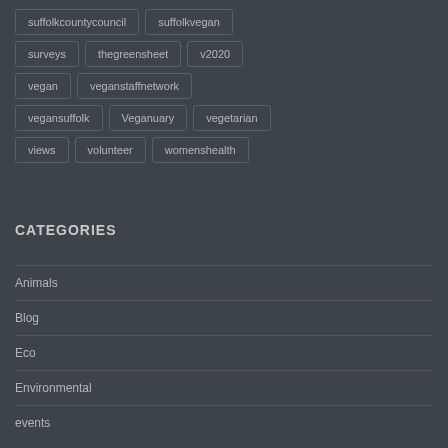suffolkcountycouncil
suffolkvegan
surveys
thegreensheet
v2020
vegan
veganstaffnetwork
vegansuffolk
Veganuary
vegetarian
views
volunteer
womenshealth
CATEGORIES
Animals
Blog
Eco
Environmental
events